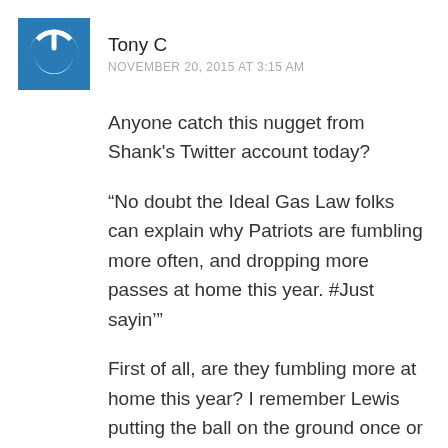[Figure (illustration): Blue square avatar icon with white power button symbol]
Tony C
NOVEMBER 20, 2015 AT 3:15 AM
Anyone catch this nugget from Shank's Twitter account today?
“No doubt the Ideal Gas Law folks can explain why Patriots are fumbling more often, and dropping more passes at home this year. #Just sayin’”
First of all, are they fumbling more at home this year? I remember Lewis putting the ball on the ground once or twice in the Steelers game (a rainy night)